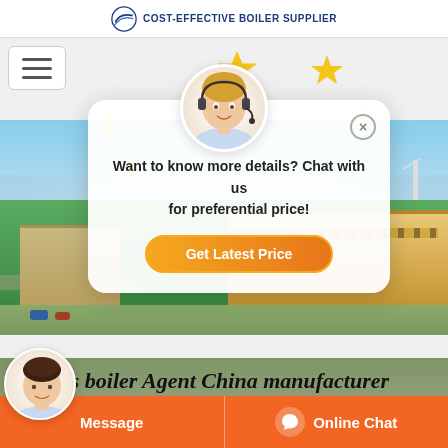[Figure (screenshot): Website header with logo text 'COST-EFFECTIVE BOILER SUPPLIER' and blue wave logo icon]
[Figure (screenshot): Hamburger menu button (three horizontal lines) in white rounded box]
[Figure (screenshot): Chat popup with female customer service avatar, star decorations, message 'Want to know more details? Chat with us for preferential price!' and orange 'Get Latest Price' button]
[Figure (photo): Aerial photo of industrial boiler manufacturing facility with large warehouse buildings, green lawn, and blue sky]
[Figure (screenshot): Bottom navigation bar with small female avatar, orange 'Message' button and orange 'Online Chat' button with headset icon]
biomass boiler Agent China manufacturer